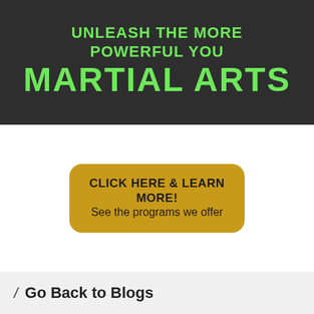[Figure (illustration): Dark banner with green bold text: UNLEASH THE MORE POWERFUL YOU and large MARTIAL ARTS heading]
[Figure (illustration): Gold/yellow rounded button with text: CLICK HERE & LEARN MORE! See the programs we offer]
Go Back to Blogs